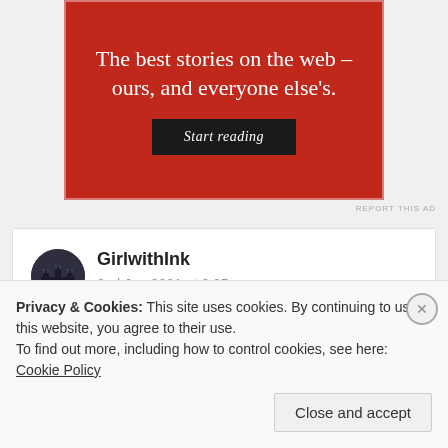[Figure (illustration): Red advertisement banner with white text reading 'The best stories on the web – ours, and everyone else's.' and a dark 'Start reading' button]
REPORT THIS AD
GirlwithInk
2nd Jun 2021 at 6:05 am
Privacy & Cookies: This site uses cookies. By continuing to use this website, you agree to their use.
To find out more, including how to control cookies, see here: Cookie Policy
Close and accept